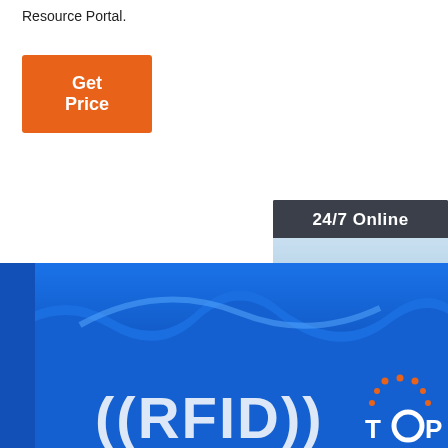Resource Portal.
Get Price
[Figure (photo): Customer service representative with headset, 24/7 Online widget with quotation button]
[Figure (photo): Blue RFID silicone wristband close-up with ((RFID)) text and TOP logo]